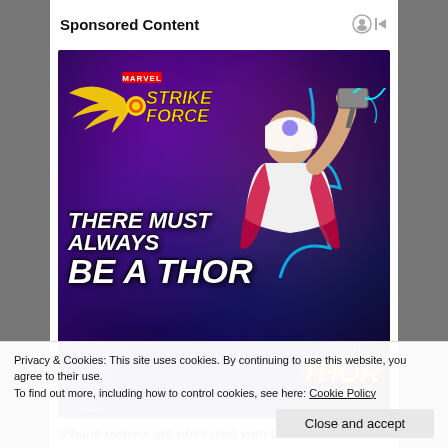Sponsored Content
[Figure (illustration): Marvel Strike Force game advertisement featuring a female Thor character wielding a hammer with lightning, with text 'THERE MUST ALWAYS BE A THOR', Marvel Strike Force logo, and Thor: Love and Thunder movie branding]
iPhone owners are obsessed with this Marvel
Privacy & Cookies: This site uses cookies. By continuing to use this website, you agree to their use.
To find out more, including how to control cookies, see here: Cookie Policy
Close and accept